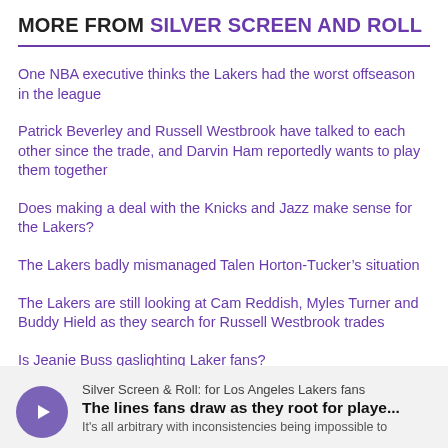MORE FROM SILVER SCREEN AND ROLL
One NBA executive thinks the Lakers had the worst offseason in the league
Patrick Beverley and Russell Westbrook have talked to each other since the trade, and Darvin Ham reportedly wants to play them together
Does making a deal with the Knicks and Jazz make sense for the Lakers?
The Lakers badly mismanaged Talen Horton-Tucker’s situation
The Lakers are still looking at Cam Reddish, Myles Turner and Buddy Hield as they search for Russell Westbrook trades
Is Jeanie Buss gaslighting Laker fans?
[Figure (other): Podcast card with play button for Silver Screen & Roll: for Los Angeles Lakers fans — episode: The lines fans draw as they root for playe... — It's all arbitrary with inconsistencies being impossible to]